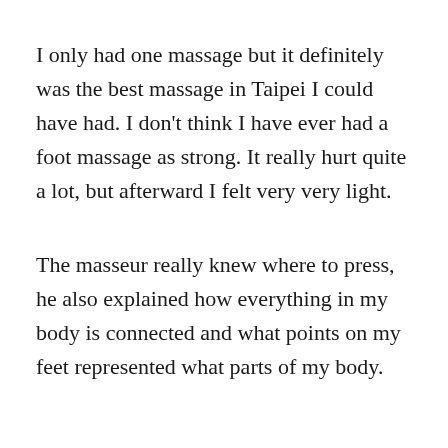I only had one massage but it definitely was the best massage in Taipei I could have had. I don't think I have ever had a foot massage as strong. It really hurt quite a lot, but afterward I felt very very light.
The masseur really knew where to press, he also explained how everything in my body is connected and what points on my feet represented what parts of my body.